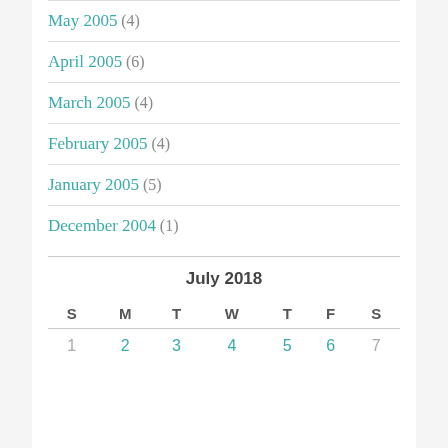May 2005 (4)
April 2005 (6)
March 2005 (4)
February 2005 (4)
January 2005 (5)
December 2004 (1)
July 2018
| S | M | T | W | T | F | S |
| --- | --- | --- | --- | --- | --- | --- |
| 1 | 2 | 3 | 4 | 5 | 6 | 7 |